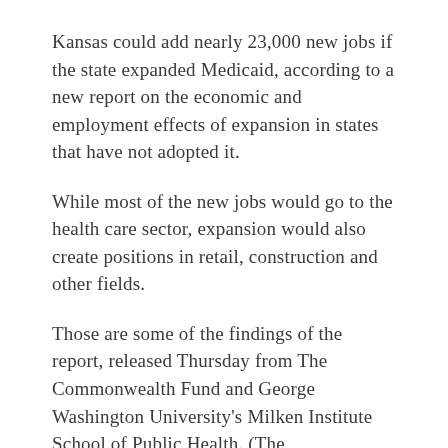Kansas could add nearly 23,000 new jobs if the state expanded Medicaid, according to a new report on the economic and employment effects of expansion in states that have not adopted it.
While most of the new jobs would go to the health care sector, expansion would also create positions in retail, construction and other fields.
Those are some of the findings of the report, released Thursday from The Commonwealth Fund and George Washington University's Milken Institute School of Public Health. (The Commonwealth Fund is a foundation that aims to support the health care system and improve access.)